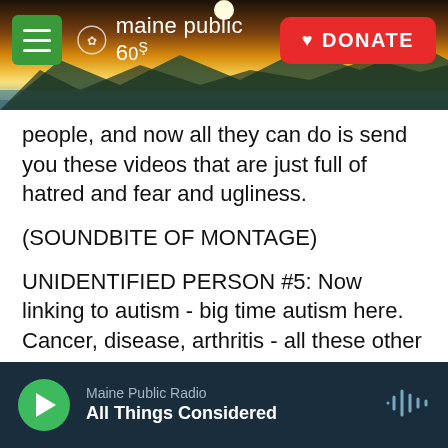[Figure (screenshot): Maine Public Radio website header with navigation bar showing hamburger menu in green, Maine Public 60 logo, and red DONATE button. Background shows a scenic landscape photo with sunset/sunrise over mountains and water.]
people, and now all they can do is send you these videos that are just full of hatred and fear and ugliness.
(SOUNDBITE OF MONTAGE)
UNIDENTIFIED PERSON #5: Now linking to autism - big time autism here. Cancer, disease, arthritis - all these other things.
UNIDENTIFIED PERSON #6: You're going to kill people. You're absolutely going to kill people with these vaccines.
Maine Public Radio
All Things Considered